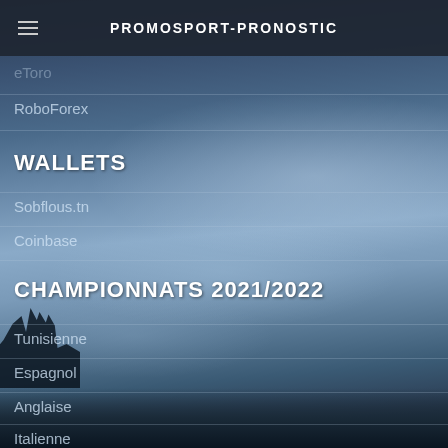PROMOSPORT-PRONOSTIC
eToro
RoboForex
WALLETS
Sobflous.tn
Coinbase
CHAMPIONNATS 2021/2022
Tunisienne
Espagnol
Anglaise
Italienne